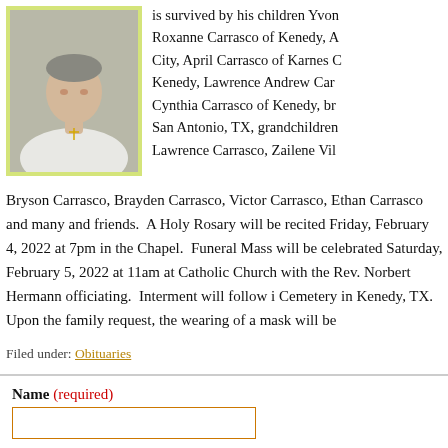[Figure (photo): Portrait photo of a man wearing a white shirt and a cross necklace, with a yellow-green border frame]
is survived by his children Yvon Roxanne Carrasco of Kenedy, A City, April Carrasco of Karnes C Kenedy, Lawrence Andrew Car Cynthia Carrasco of Kenedy, br San Antonio, TX, grandchildren Lawrence Carrasco, Zailene Vil
Bryson Carrasco, Brayden Carrasco, Victor Carrasco, Ethan Carrasco and many and friends.  A Holy Rosary will be recited Friday, February 4, 2022 at 7pm in the Chapel.  Funeral Mass will be celebrated Saturday, February 5, 2022 at 11am at Catholic Church with the Rev. Norbert Hermann officiating.  Interment will follow i Cemetery in Kenedy, TX.  Upon the family request, the wearing of a mask will be
Filed under: Obituaries
Name (required)
Email Address (will not be published) (required)